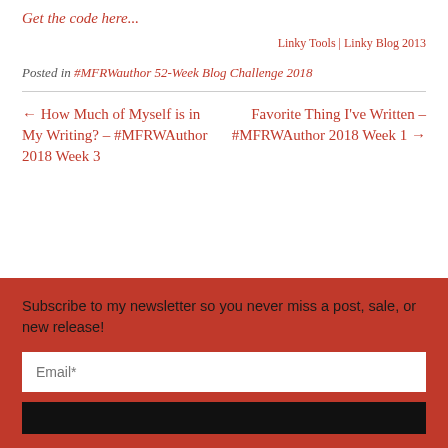Get the code here...
Linky Tools | Linky Blog 2013
Posted in #MFRWauthor 52-Week Blog Challenge 2018
← How Much of Myself is in My Writing? – #MFRWAuthor 2018 Week 3
Favorite Thing I've Written – #MFRWAuthor 2018 Week 1 →
Subscribe to my newsletter so you never miss a post, sale, or new release!